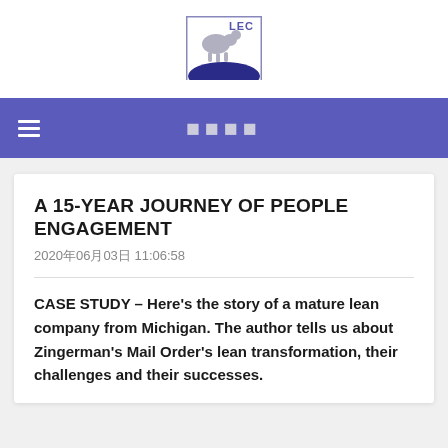[Figure (logo): LEC logo with animal silhouette and blue hill graphic, border box with 'LEC' text in top right]
☰  □□□□
A 15-YEAR JOURNEY OF PEOPLE ENGAGEMENT
2020年06月03日 11:06:58
CASE STUDY – Here's the story of a mature lean company from Michigan. The author tells us about Zingerman's Mail Order's lean transformation, their challenges and their successes.